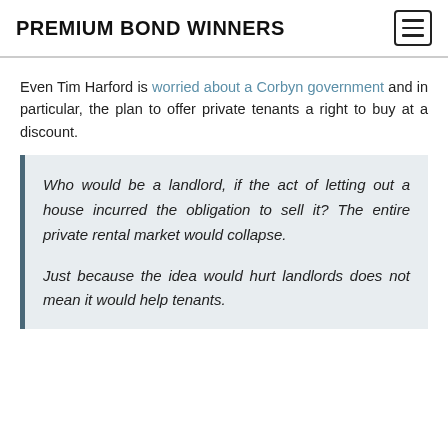PREMIUM BOND WINNERS
Even Tim Harford is worried about a Corbyn government and in particular, the plan to offer private tenants a right to buy at a discount.
Who would be a landlord, if the act of letting out a house incurred the obligation to sell it? The entire private rental market would collapse.

Just because the idea would hurt landlords does not mean it would help tenants.